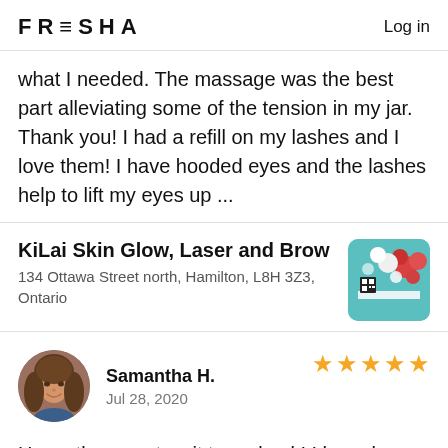FRESHA   Log in
what I needed. The massage was the best part alleviating some of the tension in my jar. Thank you! I had a refill on my lashes and I love them! I have hooded eyes and the lashes help to lift my eyes up ...
KiLai Skin Glow, Laser and Brow
134 Ottawa Street north, Hamilton, L8H 3Z3, Ontario
[Figure (photo): Business thumbnail photo showing teal/mint colored decor with balloons]
[Figure (photo): Circular avatar photo of Samantha H., a woman with medium-length brown hair, smiling]
Samantha H.
Jul 28, 2020
★★★★★
Honestly cannot wait to go back! I have been looking for "my" salon since I moved to Hamilton a few years ago and I am so so. Elaine is amazingly t...